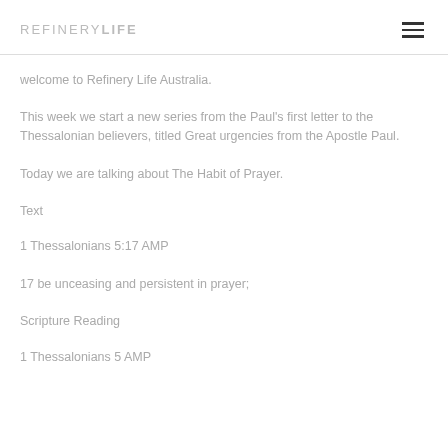REFINERY LIFE
welcome to Refinery Life Australia.
This week we start a new series from the Paul's first letter to the Thessalonian believers, titled Great urgencies from the Apostle Paul.
Today we are talking about The Habit of Prayer.
Text
1 Thessalonians 5:17 AMP
17 be unceasing and persistent in prayer;
Scripture Reading
1 Thessalonians 5 AMP